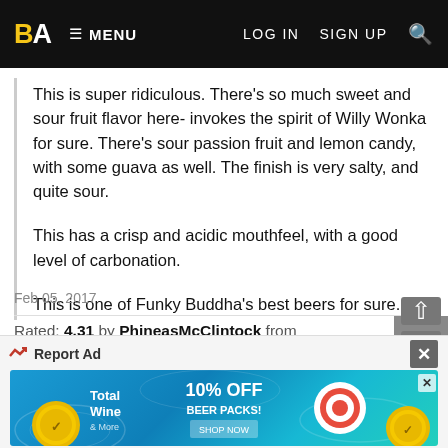BA  MENU   LOG IN   SIGN UP
This is super ridiculous. There's so much sweet and sour fruit flavor here- invokes the spirit of Willy Wonka for sure. There's sour passion fruit and lemon candy, with some guava as well. The finish is very salty, and quite sour.

This has a crisp and acidic mouthfeel, with a good level of carbonation.

This is one of Funky Buddha's best beers for sure.
Feb 05, 2017
Rated: 4.31 by PhineasMcClintock from Massachusetts
Feb 03, 2017
[Figure (other): Advertisement banner for Total Wine with 10% off beer packs offer, shown over a blue water background with decorative elements]